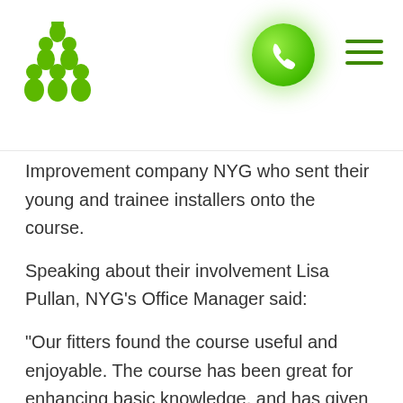NYG company logo and navigation
Improvement company NYG who sent their young and trainee installers onto the course.
Speaking about their involvement Lisa Pullan, NYG's Office Manager said:
“Our fitters found the course useful and enjoyable. The course has been great for enhancing basic knowledge, and has given the staff a good level of training on windows installation, which I know has really boosted their confidence. In addition, they really liked the course leaders, finding them down to earth and great to work with. I found it all